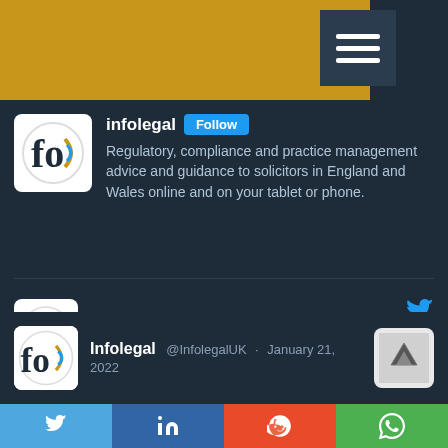[Figure (screenshot): Top navigation bar with gold background and hamburger menu icon on dark background]
Infolegal Follow
Regulatory, compliance and practice management advice and guidance to solicitors in England and Wales online and on your tablet or phone.
Infolegal @InfolegalUK · July 19, 2022
Data Protection Post-Brexit
https://www.infolegal.co.uk/data-protection-post-brexit/
Proposals that the government intend to take forward forward into the anticipated Data Reform Bill - just when you thought you had got to grips with the old law!
Twitter
Infolegal @InfolegalUK · January 21, 2022